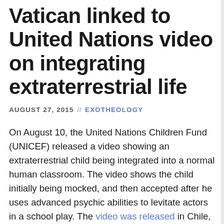Vatican linked to United Nations video on integrating extraterrestrial life
AUGUST 27, 2015  //  EXOTHEOLOGY
On August 10, the United Nations Children Fund (UNICEF) released a video showing an extraterrestrial child being integrated into a normal human classroom. The video shows the child initially being mocked, and then accepted after he uses advanced psychic abilities to levitate actors in a school play. The video was released in Chile, and has to date generated over seven million views. What earlier alternative media coverage of the video missed is the Vatican's involvement through an organization founded by Pope Francis, which is sponsoring the UNICEF attempt to change the way children are educated. This suggests a direct link